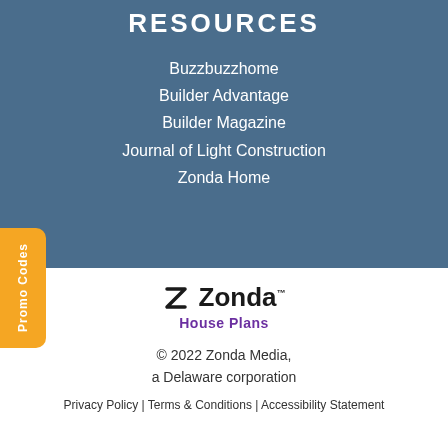RESOURCES
Buzzbuzzhome
Builder Advantage
Builder Magazine
Journal of Light Construction
Zonda Home
[Figure (logo): Zonda House Plans logo with stylized Z icon, bold Zonda text with trademark symbol, and purple House Plans subtitle]
© 2022 Zonda Media, a Delaware corporation
Privacy Policy | Terms & Conditions | Accessibility Statement